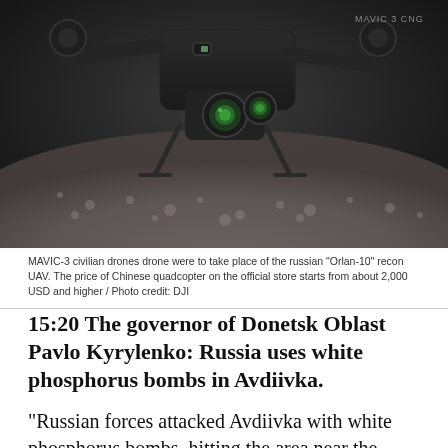[Figure (photo): Close-up photograph of a DJI Mavic 3 civilian drone (black) resting on gravel ground, with green camera lens visible. The drone's arms and motors are visible against a blurred rocky background.]
MAVIC-3 civilian drones drone were to take place of the russian "Orlan-10" recon UAV. The price of Chinese quadcopter on the official store starts from about 2,000 USD and higher / Photo credit: DJI
15:20 The governor of Donetsk Oblast Pavlo Kyrylenko: Russia uses white phosphorus bombs in Avdiivka.
“Russian forces attacked Avdiivka with white phosphorus bombs, hitting the area near the local coke-chemical plant on April 26, as well as the next day, causing a series of fires the—